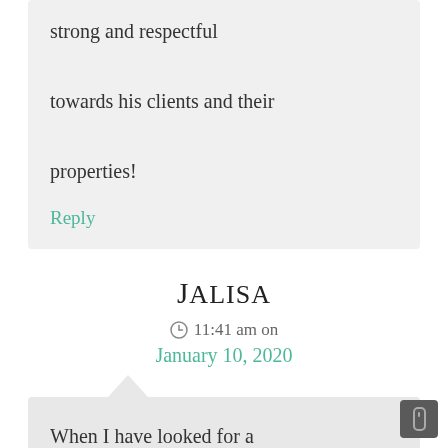strong and respectful towards his clients and their properties!
Reply
Jalisa
11:41 am on
January 10, 2020
When I have looked for a moving company before the